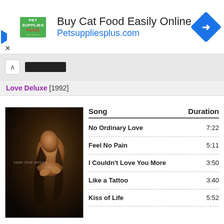[Figure (screenshot): Pet Supplies Plus advertisement banner with logo, text 'Buy Cat Food Easily Online' and 'Petsuppliesplus.com', and blue diamond arrow icon]
Love Deluxe [1992]
[Figure (photo): Sade Love Deluxe album cover — golden/bronze figure]
| Song | Duration |
| --- | --- |
| No Ordinary Love | 7:22 |
| Feel No Pain | 5:11 |
| I Couldn't Love You More | 3:50 |
| Like a Tattoo | 3:40 |
| Kiss of Life | 5:52 |